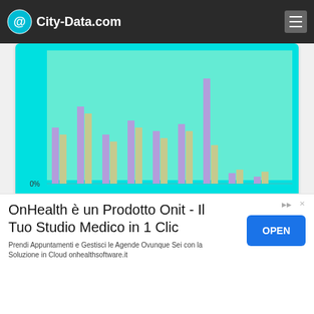City-Data.com
[Figure (grouped-bar-chart): Grouped bar chart showing educational attainment comparison between Coos County and Oregon, partially visible at top of page]
[Figure (grouped-bar-chart): School Enrollment by Level of School]
OnHealth è un Prodotto Onit - Il Tuo Studio Medico in 1 Clic
Prendi Appuntamenti e Gestisci le Agende Ovunque Sei con la Soluzione in Cloud onhealthsoftware.it